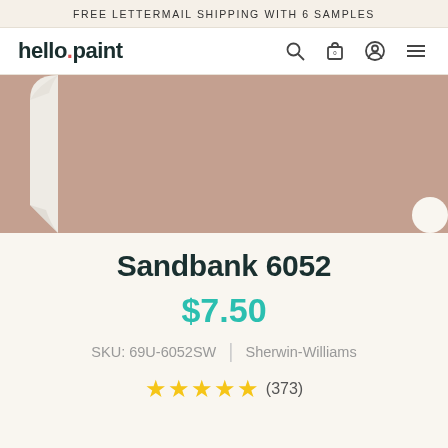FREE LETTERMAIL SHIPPING WITH 6 SAMPLES
[Figure (logo): hello.paint logo with navigation icons (search, cart, account, menu)]
[Figure (illustration): Paint swatch card showing Sandbank 6052 color — a warm pinkish-beige/mauve tone, with a curled bottom-left corner revealing white backing]
Sandbank 6052
$7.50
SKU: 69U-6052SW | Sherwin-Williams
★★★★★ (373)